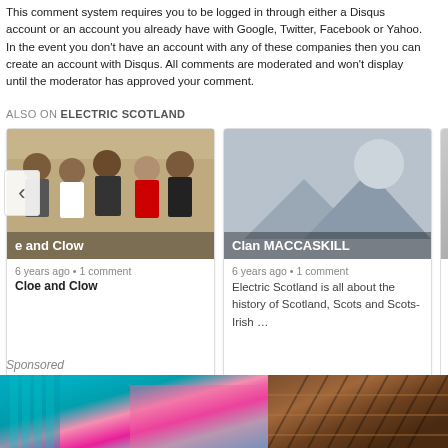This comment system requires you to be logged in through either a Disqus account or an account you already have with Google, Twitter, Facebook or Yahoo. In the event you don't have an account with any of these companies then you can create an account with Disqus. All comments are moderated and won't display until the moderator has approved your comment.
ALSO ON ELECTRIC SCOTLAND
[Figure (photo): Card with group photo thumbnail, title 'e and Clow', meta '6 years ago • 1 comment', card title 'Cloe and Clow']
[Figure (photo): Card with placeholder image thumbnail, title 'Clan MACCASKILL', meta '6 years ago • 1 comment', description 'Electric Scotland is all about the history of Scotland, Scots and Scots-Irish ...']
Sponsored
[Figure (photo): Sponsored image 1: colorful close-up photo]
[Figure (photo): Sponsored image 2: brown textured architectural photo]